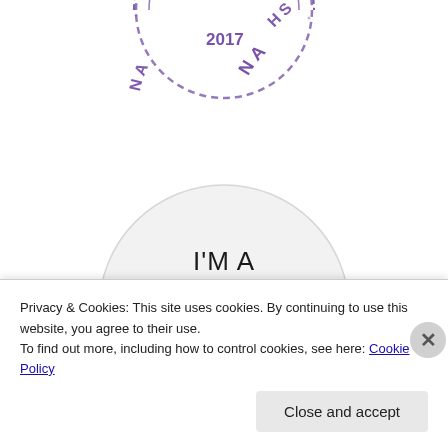[Figure (logo): Partial circular stamp/seal in purple showing 'NA 2017 HS' text arranged in a circle with dashed border]
[Figure (logo): Circular badge in light gray with text 'I'M A BOOK CONNECTOR' and an open book illustration at the bottom]
Privacy & Cookies: This site uses cookies. By continuing to use this website, you agree to their use.
To find out more, including how to control cookies, see here: Cookie Policy
Close and accept